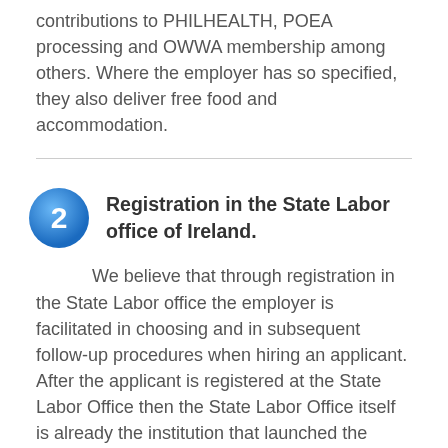contributions to PHILHEALTH, POEA processing and OWWA membership among others. Where the employer has so specified, they also deliver free food and accommodation.
Registration in the State Labor office of Ireland.
We believe that through registration in the State Labor office the employer is facilitated in choosing and in subsequent follow-up procedures when hiring an applicant. After the applicant is registered at the State Labor Office then the State Labor Office itself is already the institution that launched the candidate's candidacy.